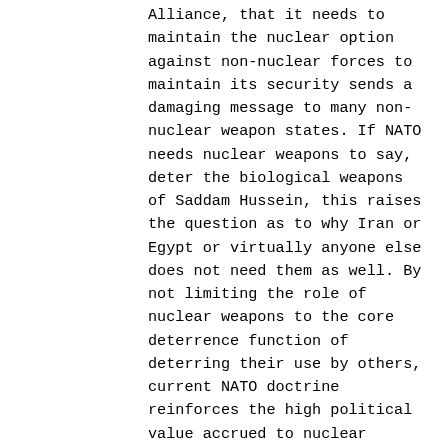Alliance, that it needs to maintain the nuclear option against non-nuclear forces to maintain its security sends a damaging message to many non-nuclear weapon states. If NATO needs nuclear weapons to say, deter the biological weapons of Saddam Hussein, this raises the question as to why Iran or Egypt or virtually anyone else does not need them as well. By not limiting the role of nuclear weapons to the core deterrence function of deterring their use by others, current NATO doctrine reinforces the high political value accrued to nuclear weapons, thereby making reductions more difficult and undermining non-proliferation efforts.